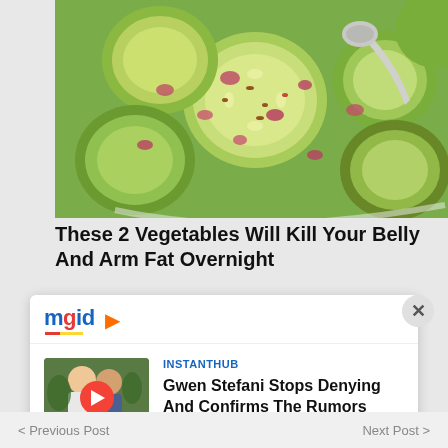[Figure (photo): Close-up photo of sliced cucumbers with red onions and spices in a bowl, with a spoon visible]
These 2 Vegetables Will Kill Your Belly And Arm Fat Overnight
[Figure (logo): mgid logo with orange play button icon]
[Figure (photo): Thumbnail photo of people hugging outdoors with a YouTube play button overlay]
INSTANTHUB
Gwen Stefani Stops Denying And Confirms The Rumors
< Previous Post   Next Post >